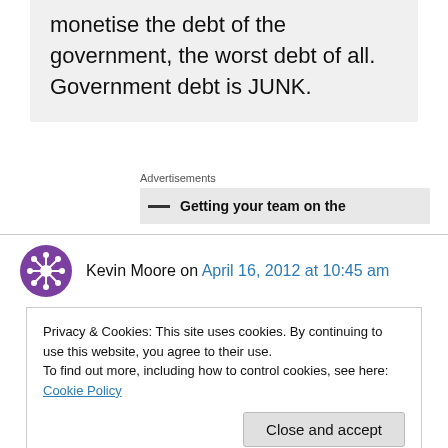Because banks are able to monetise the debt of the government, the worst debt of all. Government debt is JUNK.
Advertisements
Getting your team on the
Kevin Moore on April 16, 2012 at 10:45 am
Privacy & Cookies: This site uses cookies. By continuing to use this website, you agree to their use.
To find out more, including how to control cookies, see here: Cookie Policy
Close and accept
The IMF was created at the United Nations